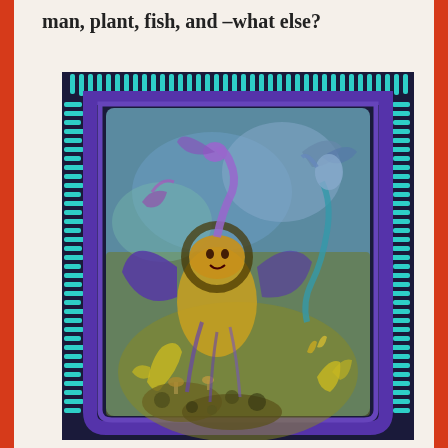man, plant, fish, and –what else?
[Figure (illustration): A surreal fantasy illustration with a dark navy and teal decorative border framing a central scene. The artwork depicts fantastical chimeric creatures combining human, plant, fish, and other biological forms. The color palette includes blues, purples, yellows and greens. A central large winged creature with lion-like features dominates the composition, surrounded by smaller mythical beings including a serpentine figure at top right, and fish-like creatures at the bottom. The background is a blue-green sky.]